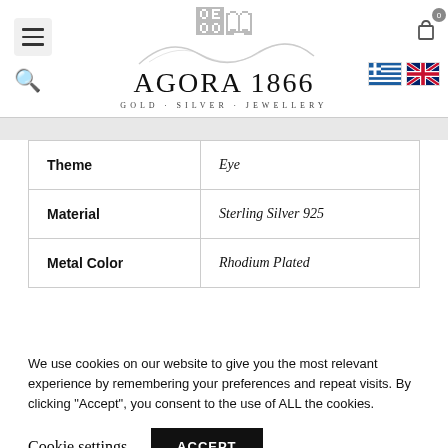[Figure (logo): Agora 1866 logo with swirl decoration, text AGORA 1866, subtitle GOLD · SILVER · JEWELLERY]
| Theme | Eye |
| Material | Sterling Silver 925 |
| Metal Color | Rhodium Plated |
We use cookies on our website to give you the most relevant experience by remembering your preferences and repeat visits. By clicking "Accept", you consent to the use of ALL the cookies.
Cookie settings   ACCEPT